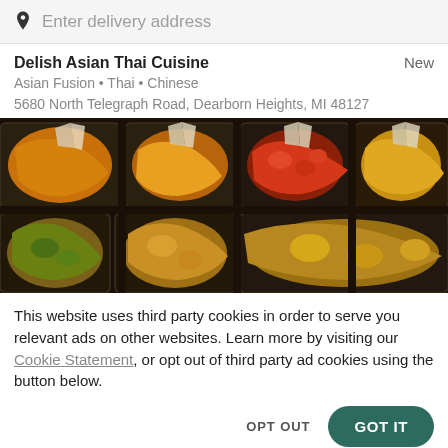Enter delivery address
Delish Asian Thai Cuisine
Asian Fusion • Thai • Chinese
5680 North Telegraph Road, Dearborn Heights, MI 48127
[Figure (photo): Overhead photo of multiple takeout containers filled with various Asian dishes including yellow curry, stir-fried vegetables, and other colorful foods, wrapped in foil]
This website uses third party cookies in order to serve you relevant ads on other websites. Learn more by visiting our Cookie Statement, or opt out of third party ad cookies using the button below.